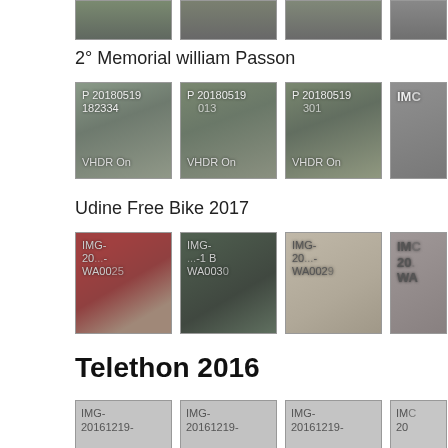[Figure (photo): Partial top row of photo thumbnails cut off at top of page]
2° Memorial william Passon
[Figure (photo): Photo thumbnails for 2° Memorial william Passon event: P 20180519 182334 VHDR On, P 20180519 013 VHDR On, P 20180519 301 VHDR On, and a partial 4th thumbnail labeled IMC]
Udine Free Bike 2017
[Figure (photo): Photo thumbnails for Udine Free Bike 2017 event: IMG-20...-WA0025, IMG-...-WA0030, IMG-20...-WA0029, and a partial 4th thumbnail labeled IMC 20... WA]
Telethon 2016
[Figure (photo): Partial bottom row of photo thumbnails for Telethon 2016: IMG-20161219-, IMG-20161219-, IMG-20161219-, and partial IMC 20...]